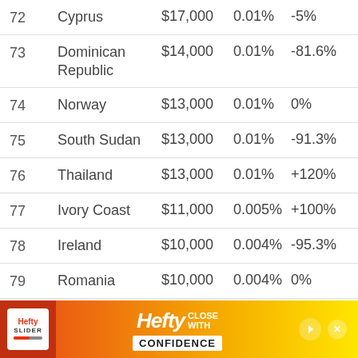| Rank | Country | Value | Share | Change |
| --- | --- | --- | --- | --- |
| 72 | Cyprus | $17,000 | 0.01% | -5% |
| 73 | Dominican Republic | $14,000 | 0.01% | -81.6% |
| 74 | Norway | $13,000 | 0.01% | 0% |
| 75 | South Sudan | $13,000 | 0.01% | -91.3% |
| 76 | Thailand | $13,000 | 0.01% | +120% |
| 77 | Ivory Coast | $11,000 | 0.005% | +100% |
| 78 | Ireland | $10,000 | 0.004% | -95.3% |
| 79 | Romania | $10,000 | 0.004% | 0% |
| 80 | Syrian Arab... | $9,000 | 0.004% | 0% |
[Figure (other): Hefty Slider advertisement banner at bottom of page]